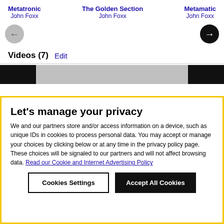Metatronic
John Foxx
The Golden Section
John Foxx
Metamatic
John Foxx
Videos (7)  Edit
[Figure (screenshot): Video strip with black panels on left and right and gray center]
Let's manage your privacy
We and our partners store and/or access information on a device, such as unique IDs in cookies to process personal data. You may accept or manage your choices by clicking below or at any time in the privacy policy page. These choices will be signaled to our partners and will not affect browsing data. Read our Cookie and Internet Advertising Policy
Cookies Settings
Accept All Cookies